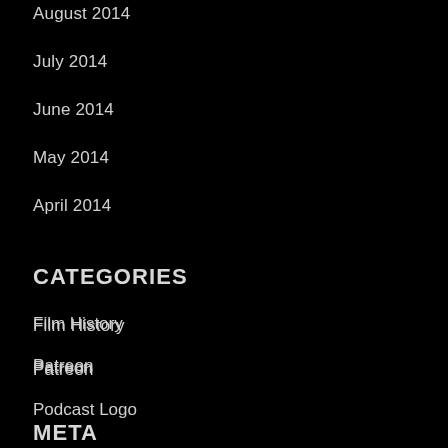August 2014
July 2014
June 2014
May 2014
April 2014
CATEGORIES
Film History
Patreon
Podcast Logo
TV & Film
META